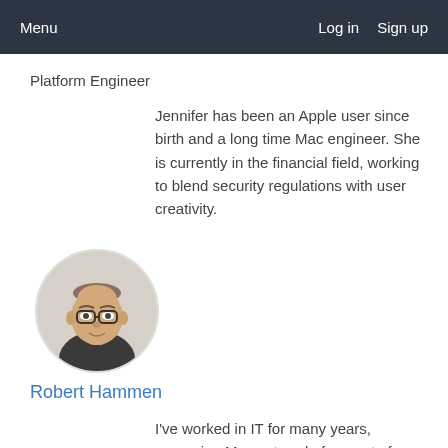Menu    Log in    Sign up
Platform Engineer
Jennifer has been an Apple user since birth and a long time Mac engineer. She is currently in the financial field, working to blend security regulations with user creativity.
[Figure (photo): Circular profile photo of Robert Hammen, a man with glasses and short hair, wearing a dark shirt]
Robert Hammen
I've worked in IT for many years, managing Macs at scale for most of